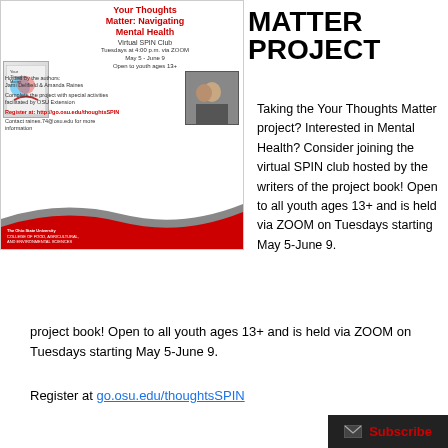[Figure (infographic): OSU Extension Virtual SPIN Club flyer for 'Your Thoughts Matter: Navigating Mental Health'. Includes event details, wave design, book cover, photo of two women, OSU logo.]
MATTER PROJECT
Taking the Your Thoughts Matter project? Interested in Mental Health? Consider joining the virtual SPIN club hosted by the writers of the project book! Open to all youth ages 13+ and is held via ZOOM on Tuesdays starting May 5-June 9.
Register at go.osu.edu/thoughtsSPIN